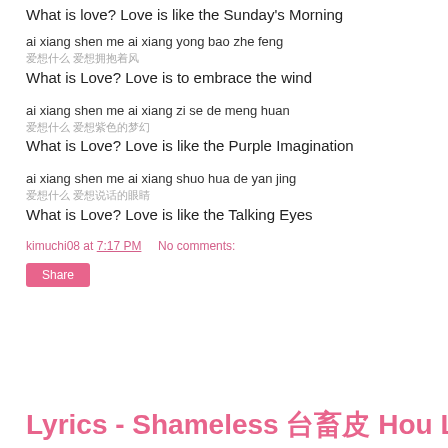What is love? Love is like the Sunday's Morning
ai xiang shen me ai xiang yong bao zhe feng
爱想什么 爱想拥抱着风
What is Love? Love is to embrace the wind
ai xiang shen me ai xiang zi se de meng huan
爱想什么 爱想紫色的梦幻
What is Love? Love is like the Purple Imagination
ai xiang shen me ai xiang shuo hua de yan jing
爱想什么 爱想说话的眼睛
What is Love? Love is like the Talking Eyes
kimuchi08 at 7:17 PM   No comments:
Share
Lyrics - Shameless 厚脸皮 Hou Lian Pi [Ella]